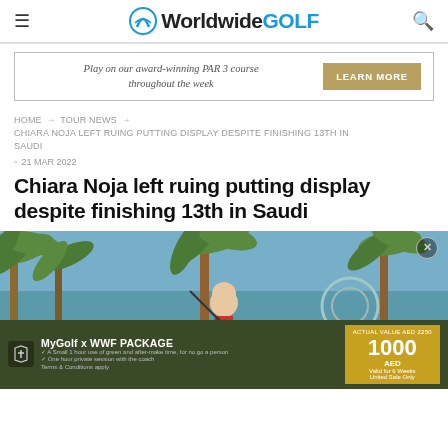Worldwide GOLF
[Figure (infographic): Advertisement banner: Play on our award-winning PAR 3 course throughout the week — LEARN MORE button]
HOME → TOUR NEWS →
CHIARA NOJA LEFT RUING PUTTING DISPLAY DESPITE FINISHING 13TH IN SAUDI
21 MAR 2022
Chiara Noja left ruing putting display despite finishing 13th in Saudi
[Figure (photo): Chiara Noja golfer mid-swing with palm trees and blue sky background. A MyGolf x WWF PACKAGE advertisement overlay is shown at the bottom: 1000 AED, valid for 6 weeks, United Sale Only.]